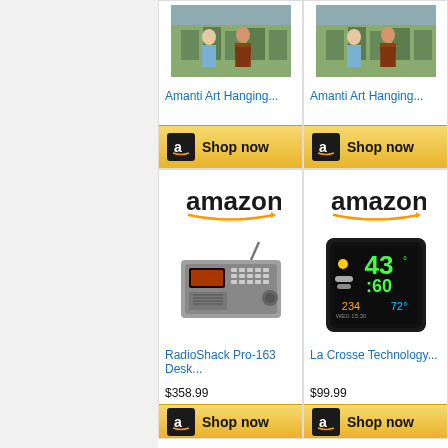[Figure (screenshot): Amazon product listing screenshot showing 4 product cards in a 2-column grid. Top row: two 'Amanti Art Hanging...' products with store/people images and 'Shop now' Amazon buttons. Bottom row: RadioShack Pro-163 Desk... at $358.99 and La Crosse Technology... at $99.99, each with Amazon logos, product photos, prices, and partial 'Shop now' buttons.]